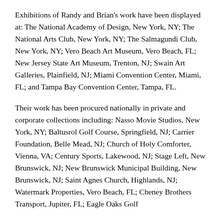Exhibitions of Randy and Brian's work have been displayed at: The National Academy of Design, New York, NY; The National Arts Club, New York, NY; The Salmagundi Club, New York, NY; Vero Beach Art Museum, Vero Beach, FL; New Jersey State Art Museum, Trenton, NJ; Swain Art Galleries, Plainfield, NJ; Miami Convention Center, Miami, FL; and Tampa Bay Convention Center, Tampa, FL.
Their work has been procured nationally in private and corporate collections including: Nasso Movie Studios, New York, NY; Baltusrol Golf Course, Springfield, NJ; Carrier Foundation, Belle Mead, NJ; Church of Holy Comforter, Vienna, VA; Century Sports, Lakewood, NJ; Stage Left, New Brunswick, NJ; New Brunswick Municipal Building, New Brunswick, NJ; Saint Agnes Church, Highlands, NJ; Watermark Properties, Vero Beach, FL; Cheney Brothers Transport, Jupiter, FL; Eagle Oaks Golf